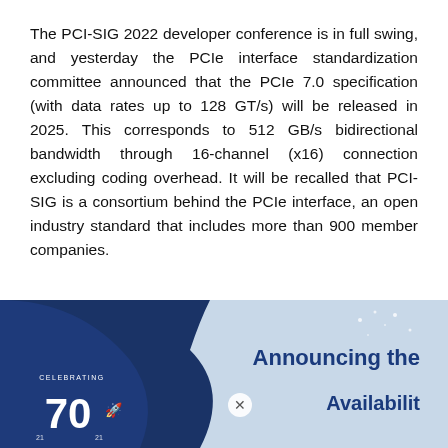The PCI-SIG 2022 developer conference is in full swing, and yesterday the PCIe interface standardization committee announced that the PCIe 7.0 specification (with data rates up to 128 GT/s) will be released in 2025. This corresponds to 512 GB/s bidirectional bandwidth through 16-channel (x16) connection excluding coding overhead. It will be recalled that PCI-SIG is a consortium behind the PCIe interface, an open industry standard that includes more than 900 member companies.
[Figure (illustration): PCI-SIG banner image with a dark blue curved shape on the left showing '70' celebrating anniversary text, and on the right a light blue background with bold navy text reading 'Announcing the' and partially visible next line. An X close button is visible.]